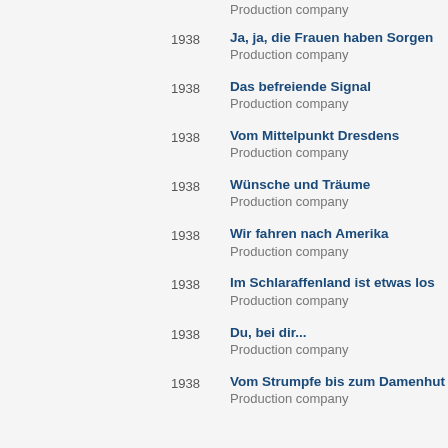1938 | Ja, ja, die Frauen haben Sorgen | Production company
1938 | Das befreiende Signal | Production company
1938 | Vom Mittelpunkt Dresdens | Production company
1938 | Wünsche und Träume | Production company
1938 | Wir fahren nach Amerika | Production company
1938 | Im Schlaraffenland ist etwas los | Production company
1938 | Du, bei dir... | Production company
1938 | Vom Strumpfe bis zum Damenhut | Production company